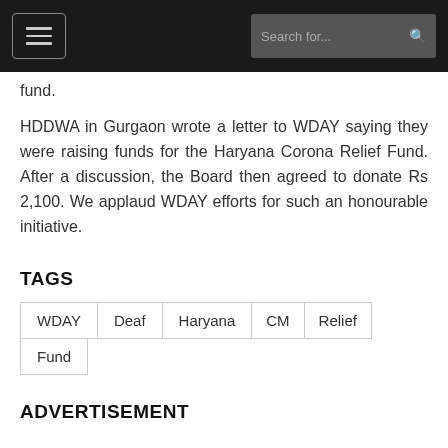[hamburger menu] [Search for...]
fund.
HDDWA in Gurgaon wrote a letter to WDAY saying they were raising funds for the Haryana Corona Relief Fund. After a discussion, the Board then agreed to donate Rs 2,100. We applaud WDAY efforts for such an honourable initiative.
TAGS
WDAY
Deaf
Haryana
CM
Relief
Fund
ADVERTISEMENT